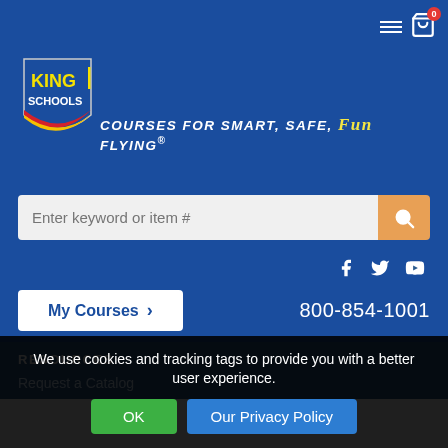[Figure (logo): King Schools logo with shield shape, yellow KING text on blue background, red and yellow stripe]
Courses for Smart, Safe, Fun Flying
Enter keyword or item #
[Figure (infographic): Social media icons: Facebook, Twitter, YouTube]
My Courses >
800-854-1001
RESOURCES
Request a Catalog
We use cookies and tracking tags to provide you with a better user experience.
OK  Our Privacy Policy